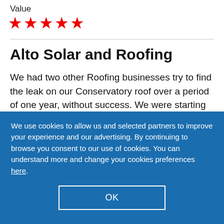Value
[Figure (other): Five red star rating icons]
Alto Solar and Roofing
We had two other Roofing businesses try to find the leak on our Conservatory roof over a period of one year, without success. We were starting
We use cookies to allow us and selected partners to improve your experience and our advertising. By continuing to browse you consent to our use of cookies. You can understand more and change your cookies preferences here.
OK